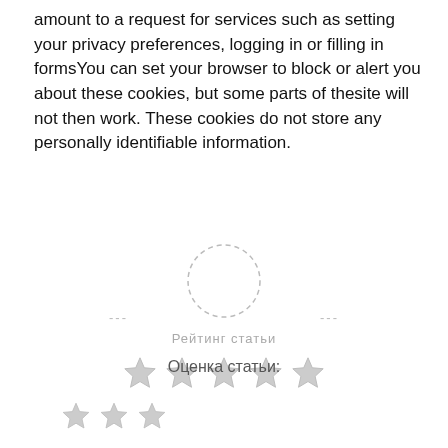amount to a request for services such as setting your privacy preferences, logging in or filling in formsYou can set your browser to block or alert you about these cookies, but some parts of thesite will not then work. These cookies do not store any personally identifiable information.
[Figure (other): A dashed circle icon with horizontal dash lines on either side, a Russian label 'Рейтинг статьи' (Article rating), and five grey star icons below it.]
Оценка статьи:
[Figure (other): Three grey star icons in a row.]